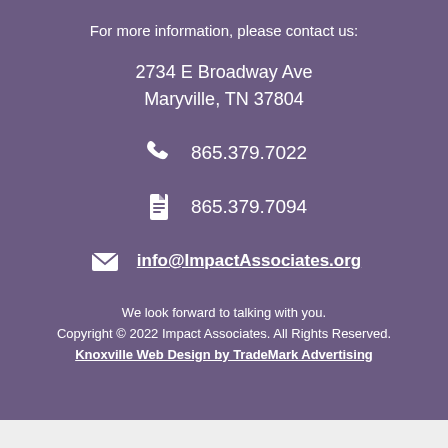For more information, please contact us:
2734 E Broadway Ave
Maryville, TN 37804
865.379.7022
865.379.7094
info@ImpactAssociates.org
We look forward to talking with you.
Copyright © 2022 Impact Associates. All Rights Reserved.
Knoxville Web Design by TradeMark Advertising